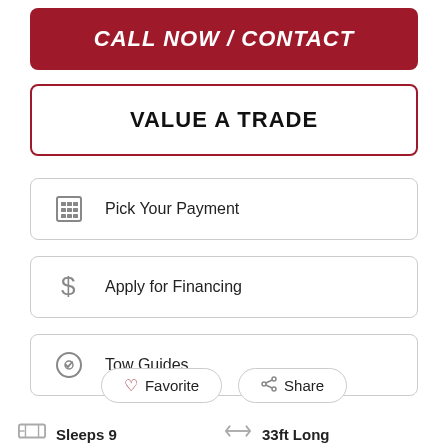CALL NOW / CONTACT
VALUE A TRADE
Pick Your Payment
Apply for Financing
Tow Guides
Favorite
Share
Sleeps 9
33ft Long
1 Slides
6,014 lbs